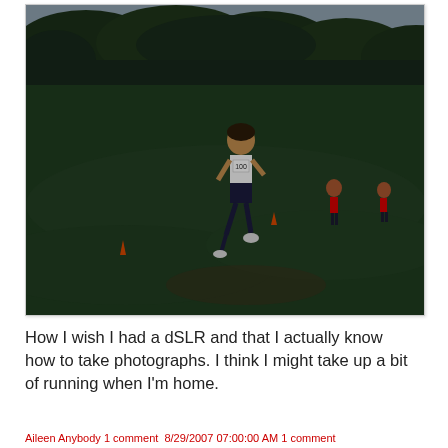[Figure (photo): Cross country running race on a grass field at dusk. A runner in white singlet and dark shorts is in the foreground mid-stride. Two runners in red are visible in the background. Orange cones mark the course. Dense dark green trees line the background under an overcast sky.]
How I wish I had a dSLR and that I actually know how to take photographs. I think I might take up a bit of running when I'm home.
Aileen Anybody 1 comment 8/29/2007 07:00:00 AM 1 comment